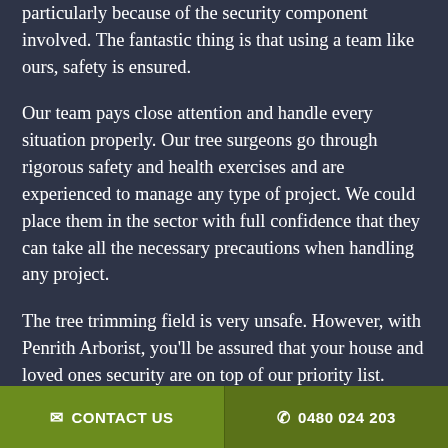particularly because of the security component involved. The fantastic thing is that using a team like ours, safety is ensured.
Our team pays close attention and handle every situation properly. Our tree surgeons go through rigorous safety and health exercises and are experienced to manage any type of project. We could place them in the sector with full confidence that they can take all the necessary precautions when handling any project.
The tree trimming field is very unsafe. However, with Penrith Arborist, you'll be assured that your house and loved ones security are on top of our priority list.
Simply put, if you've got any security concerns,
✉ CONTACT US   ✆ 0480 024 203